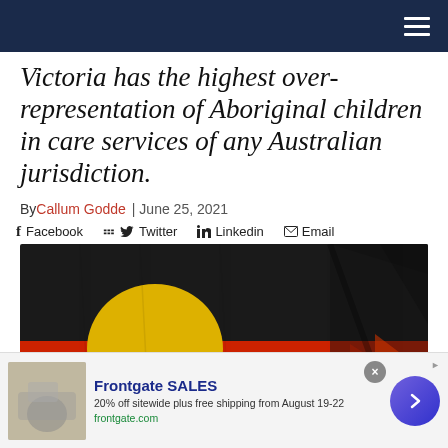Navigation bar with hamburger menu
Victoria has the highest over-representation of Aboriginal children in care services of any Australian jurisdiction.
By Callum Godde | June 25, 2021
Facebook  Twitter  Linkedin  Email
[Figure (photo): Australian Aboriginal flag waving — black top half, red bottom half, yellow circle in center. The flag is draped and partially folded against a grey background.]
Frontgate SALES
20% off sitewide plus free shipping from August 19-22
frontgate.com